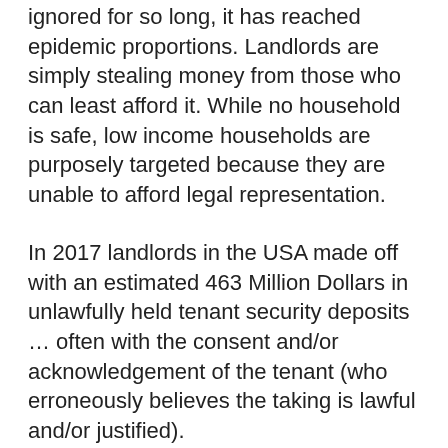ignored for so long, it has reached epidemic proportions. Landlords are simply stealing money from those who can least afford it. While no household is safe, low income households are purposely targeted because they are unable to afford legal representation.
In 2017 landlords in the USA made off with an estimated 463 Million Dollars in unlawfully held tenant security deposits … often with the consent and/or acknowledgement of the tenant (who erroneously believes the taking is lawful and/or justified).
It has lead to increase in the homeless population across our